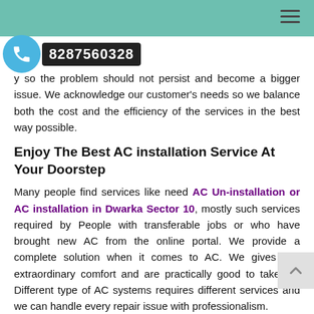Navigation header bar with phone number 8287560328
y so the problem should not persist and become a bigger issue. We acknowledge our customer's needs so we balance both the cost and the efficiency of the services in the best way possible.
Enjoy The Best AC installation Service At Your Doorstep
Many people find services like need AC Un-installation or AC installation in Dwarka Sector 10, mostly such services required by People with transferable jobs or who have brought new AC from the online portal. We provide a complete solution when it comes to AC. We gives you extraordinary comfort and are practically good to take up. Different type of AC systems requires different services and we can handle every repair issue with professionalism.
Consistency in Services